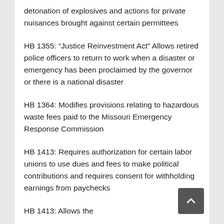detonation of explosives and actions for private nuisances brought against certain permittees
HB 1355: “Justice Reinvestment Act” Allows retired police officers to return to work when a disaster or emergency has been proclaimed by the governor or there is a national disaster
HB 1364: Modifies provisions relating to hazardous waste fees paid to the Missouri Emergency Response Commission
HB 1413: Requires authorization for certain labor unions to use dues and fees to make political contributions and requires consent for withholding earnings from paychecks
HB 1413: Allows the government...